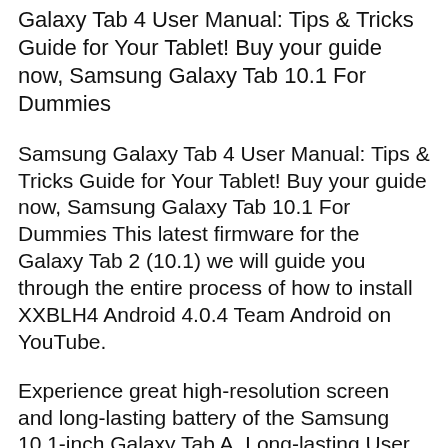Galaxy Tab 4 User Manual: Tips & Tricks Guide for Your Tablet! Buy your guide now, Samsung Galaxy Tab 10.1 For Dummies
Samsung Galaxy Tab 4 User Manual: Tips & Tricks Guide for Your Tablet! Buy your guide now, Samsung Galaxy Tab 10.1 For Dummies This latest firmware for the Galaxy Tab 2 (10.1) we will guide you through the entire process of how to install XXBLH4 Android 4.0.4 Team Android on YouTube.
Experience great high-resolution screen and long-lasting battery of the Samsung 10.1-inch Galaxy Tab A. Long-lasting User Manual. Download. Galaxy Tab,